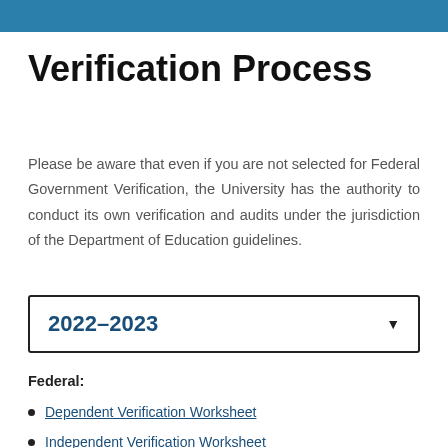Verification Process
Please be aware that even if you are not selected for Federal Government Verification, the University has the authority to conduct its own verification and audits under the jurisdiction of the Department of Education guidelines.
2022–2023
Federal:
Dependent Verification Worksheet
Independent Verification Worksheet